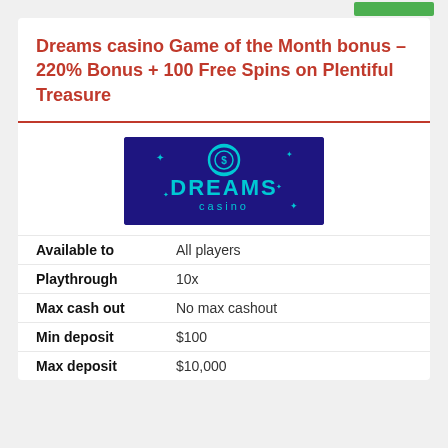Dreams casino Game of the Month bonus – 220% Bonus + 100 Free Spins on Plentiful Treasure
[Figure (logo): Dreams Casino logo: dark blue/purple background with a cyan casino chip icon and 'DREAMS casino' text in cyan]
| Available to | All players |
| Playthrough | 10x |
| Max cash out | No max cashout |
| Min deposit | $100 |
| Max deposit | $10,000 |